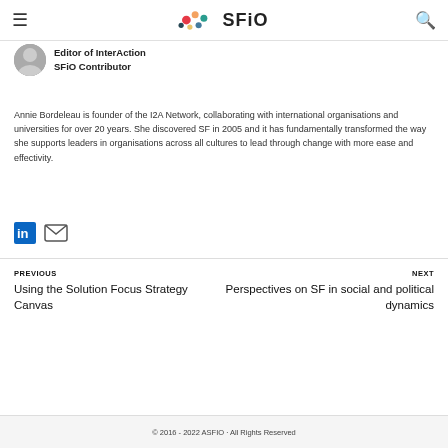SFiO
Editor of InterAction
SFiO Contributor
Annie Bordeleau is founder of the I2A Network, collaborating with international organisations and universities for over 20 years. She discovered SF in 2005 and it has fundamentally transformed the way she supports leaders in organisations across all cultures to lead through change with more ease and effectivity.
PREVIOUS
Using the Solution Focus Strategy Canvas
NEXT
Perspectives on SF in social and political dynamics
© 2016 - 2022 ASFIO · All Rights Reserved